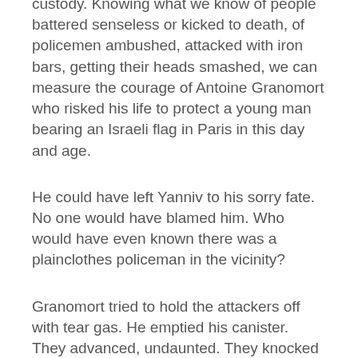custody. Knowing what we know of people battered senseless or kicked to death, of policemen ambushed, attacked with iron bars, getting their heads smashed, we can measure the courage of Antoine Granomort who risked his life to protect a young man bearing an Israeli flag in Paris in this day and age.
He could have left Yanniv to his sorry fate. No one would have blamed him. Who would have even known there was a plainclothes policeman in the vicinity?
Granomort tried to hold the attackers off with tear gas. He emptied his canister. They advanced, undaunted. They knocked him down, or he tripped and fell. He was kicked in the head and groin. Did he get up, or shoot from the ground at someone who was about to kick him senseless? No reliable eyewitness testimony has been made public on that detail. He says he warned them that he was a policeman. Then fired one shot.